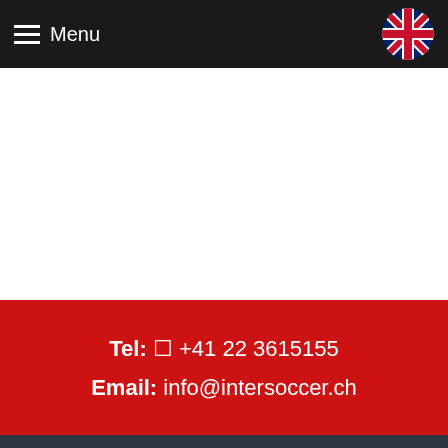Menu
Tel: +41 22 3615155
Email: info@intersoccer.ch
INTERSOCCER